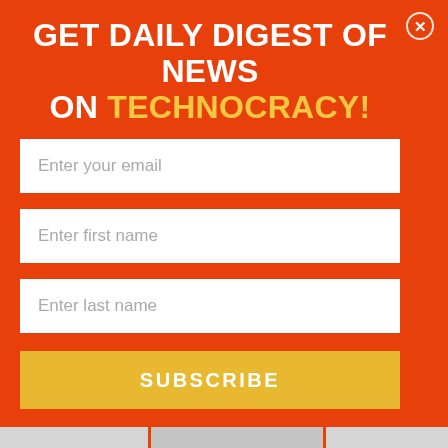GET DAILY DIGEST OF NEWS ON TECHNOCRACY!
Enter your email
Enter first name
Enter last name
SUBSCRIBE
[Figure (other): Partially visible article image strip with gray placeholder blocks]
2030 AGENDA
The UN Rush To Implement 2030 Agenda's Sustainable Development Goals